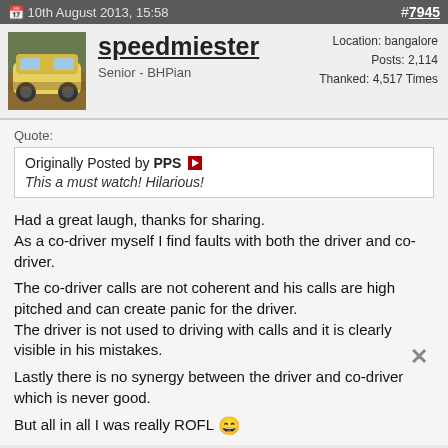10th August 2013, 15:58   #7945
speedmiester
Senior - BHPian
Location: bangalore
Posts: 2,114
Thanked: 4,517 Times
Quote:
Originally Posted by PPS
This a must watch! Hilarious!
Had a great laugh, thanks for sharing.
As a co-driver myself I find faults with both the driver and co-driver.

The co-driver calls are not coherent and his calls are high pitched and can create panic for the driver.
The driver is not used to driving with calls and it is clearly visible in his mistakes.

Lastly there is no synergy between the driver and co-driver which is never good.

But all in all I was really ROFL 😄